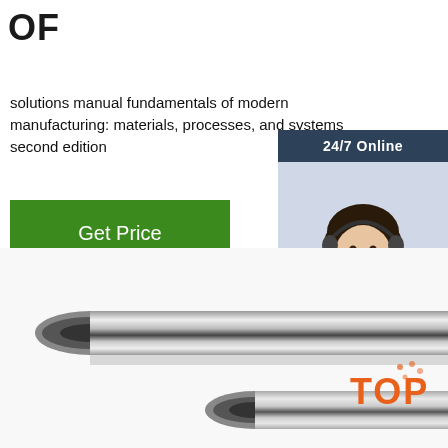OF
solutions manual fundamentals of modern manufacturing: materials, processes, and systems second edition
[Figure (infographic): Green 'Get Price' button]
[Figure (infographic): 24/7 Online chat widget with female agent photo wearing headset, 'Click here for free chat!' text, and orange QUOTATION button on dark blue background]
[Figure (photo): Chrome/steel cylindrical rods arranged diagonally on white background]
[Figure (logo): Orange TOP badge with dot pattern]